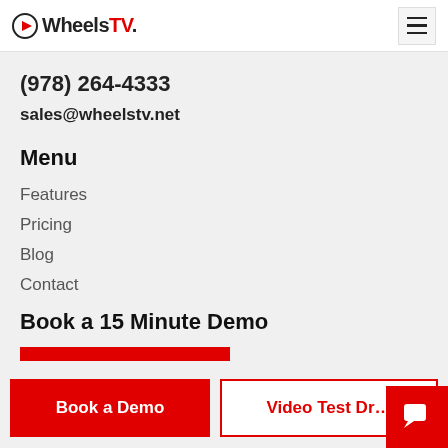WheelsTV. [hamburger menu]
(978) 264-4333
sales@wheelstv.net
Menu
Features
Pricing
Blog
Contact
Book a 15 Minute Demo
[Figure (other): Red horizontal bar element, partial form input]
Book a Demo
Video Test Dr[ive] (truncated)